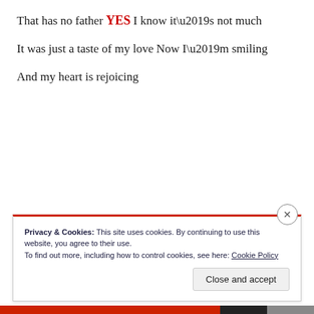That has no father
YES
I know it’s not much
It was just a taste of my love
Now I’m smiling
And my heart is rejoicing
Privacy & Cookies: This site uses cookies. By continuing to use this website, you agree to their use.
To find out more, including how to control cookies, see here: Cookie Policy
Close and accept